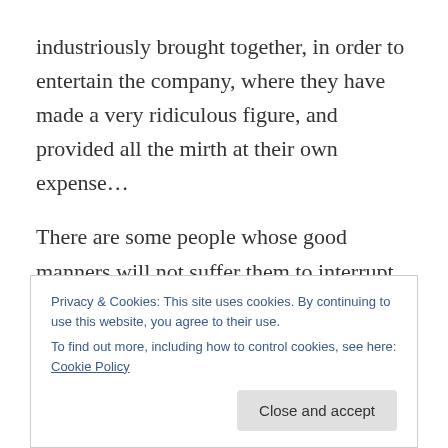industriously brought together, in order to entertain the company, where they have made a very ridiculous figure, and provided all the mirth at their own expense…
There are some people whose good manners will not suffer them to interrupt you; but, what is almost as bad, will discover abundance of impatience, and lie upon the watch until you have done, because they have started something in their own thoughts which they long to be delivered of. Meantime, they are so far from regarding what passes, that their imaginations are wholly turned upon what they
Privacy & Cookies: This site uses cookies. By continuing to use this website, you agree to their use.
To find out more, including how to control cookies, see here: Cookie Policy
Close and accept